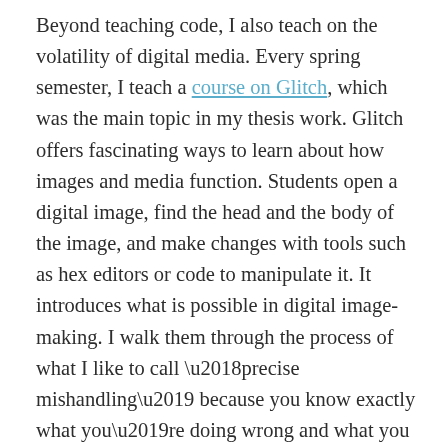Beyond teaching code, I also teach on the volatility of digital media. Every spring semester, I teach a course on Glitch, which was the main topic in my thesis work. Glitch offers fascinating ways to learn about how images and media function. Students open a digital image, find the head and the body of the image, and make changes with tools such as hex editors or code to manipulate it. It introduces what is possible in digital image-making. I walk them through the process of what I like to call ‘precise mishandling’ because you know exactly what you’re doing wrong and what you shouldn’t do, but do it very properly. It’s not reverse engineering but more like poking it, making the image break enough that it’s not totally broken. It enables the students to learn about a given media file format and what it’s capable of through those breaks and errors. This project also provides an opportunity for students to explore amongst the hundreds of different image file formats, designed for